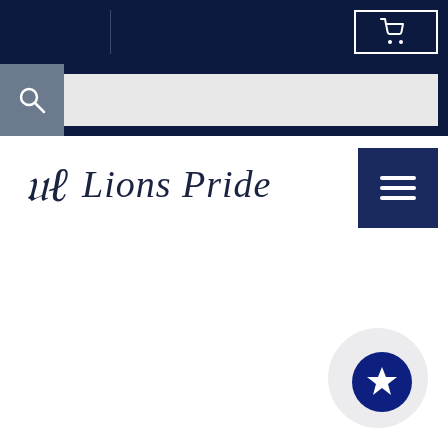[Figure (screenshot): Dark navy top navigation bar with a cart icon button (white shopping cart icon in a white-bordered box) on the right side, and a vertical divider line on the left.]
[Figure (screenshot): Search bar row with a grey search icon box on the left containing a magnifying glass icon, and a light grey input field to the right, all on a dark navy background.]
[Figure (logo): Lions Pride logo consisting of a decorative script lion/feather icon followed by the text 'Lions Pride' in italic serif font, dark navy color.]
[Figure (screenshot): Dark navy hamburger menu button (three horizontal lines icon) on the right side.]
[Figure (screenshot): A circular dark navy blue button with a white star icon in the lower right area of the page, with a faint grey bubble behind it.]